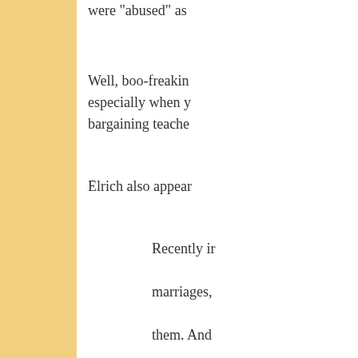were "abused" as
Well, boo-freakin especially when y bargaining teache
Elrich also appear
Recently ir marriages, them. And presidentia
I never kne
Well, whose fault to hold your hand
According to the